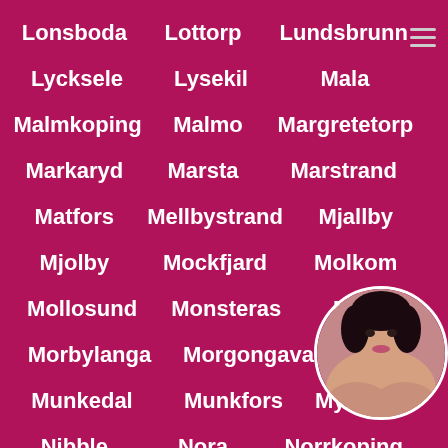Lonsboda
Lottorp
Lundsbrunn
Lycksele
Lysekil
Mala
Malmkoping
Malmo
Margretetorp
Markaryd
Marsta
Marstrand
Matfors
Mellbystrand
Mjallby
Mjolby
Mockfjard
Molkom
Mollosund
Monsteras
Mora
Morbylanga
Morgongava
M...
Munkedal
Munkfors
Myres...
Nibble
Nora
Norrkoping
Nybro
Nykoping
Nykvarn
Obbola
[Figure (photo): Circular avatar photo of a woman]